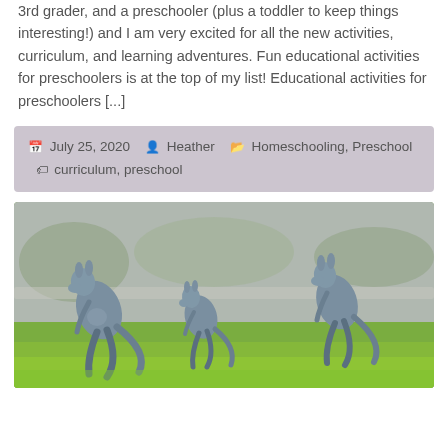3rd grader, and a preschooler (plus a toddler to keep things interesting!) and I am very excited for all the new activities, curriculum, and learning adventures. Fun educational activities for preschoolers is at the top of my list! Educational activities for preschoolers [...]
July 25, 2020   Heather   Homeschooling, Preschool   curriculum, preschool
[Figure (photo): Three kangaroos hopping across a green grassy field]